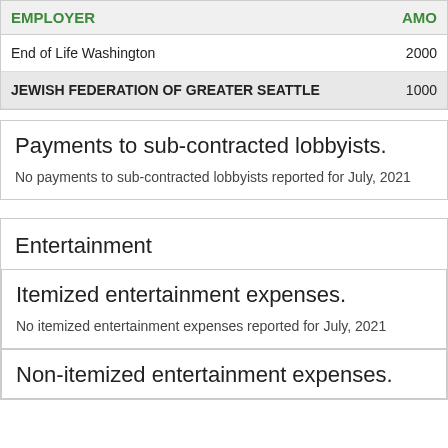| EMPLOYER | AMOUNT |
| --- | --- |
| End of Life Washington | 2000 |
| JEWISH FEDERATION OF GREATER SEATTLE | 1000 |
Payments to sub-contracted lobbyists.
No payments to sub-contracted lobbyists reported for July, 2021
Entertainment
Itemized entertainment expenses.
No itemized entertainment expenses reported for July, 2021
Non-itemized entertainment expenses.